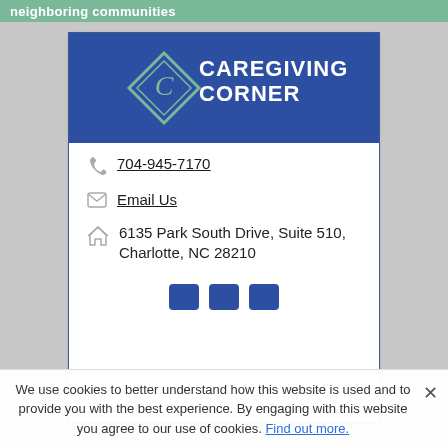Neighboring communities
[Figure (logo): Caregiving Corner logo: dark blue banner with a green diamond containing the letter C, and white text reading CAREGIVING CORNER]
704-945-7170
Email Us
6135 Park South Drive, Suite 510, Charlotte, NC 28210
We use cookies to better understand how this website is used and to provide you with the best experience. By engaging with this website you agree to our use of cookies. Find out more.
This website is sponsored by Caregiving Corner, provid...